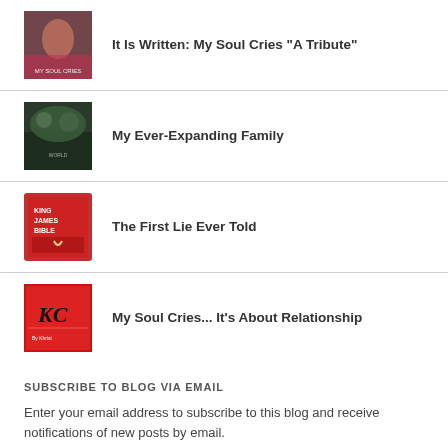It Is Written: My Soul Cries "A Tribute"
My Ever-Expanding Family
The First Lie Ever Told
My Soul Cries... It's About Relationship
SUBSCRIBE TO BLOG VIA EMAIL
Enter your email address to subscribe to this blog and receive notifications of new posts by email.
Enter your email address
SUBSCRIBE